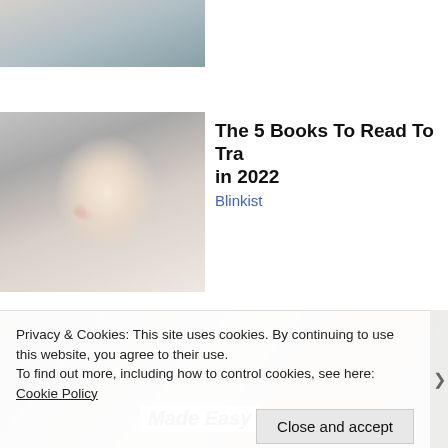[Figure (photo): Partial photo of a person at top of page, partially cropped]
[Figure (photo): Photo of a blonde woman in a white top against a grey brick background]
The 5 Books To Read To Tra in 2022
Blinkist
[Figure (photo): Photo showing US dollar bills and what appears to be a financial document or envelope]
Made Easy
Privacy & Cookies: This site uses cookies. By continuing to use this website, you agree to their use.
To find out more, including how to control cookies, see here: Cookie Policy
Close and accept